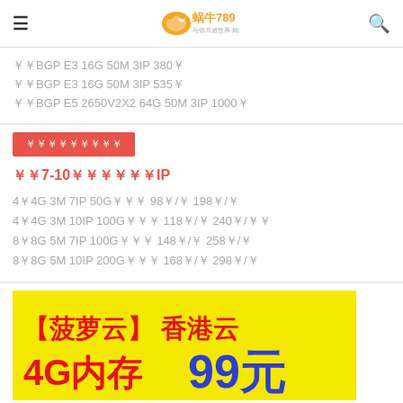蜗牛789
￥￥BGP E3 16G 50M 3IP 380￥
￥￥BGP E3 16G 50M 3IP 535￥
￥￥BGP E5 2650V2X2 64G 50M 3IP 1000￥
￥￥￥￥￥￥￥￥￥
￥￥7-10￥￥￥￥￥￥IP
4￥4G 3M 7IP 50G￥￥￥ 98￥/￥ 198￥/￥
4￥4G 3M 10IP 100G￥￥￥ 118￥/￥ 240￥/￥￥
8￥8G 5M 7IP 100G￥￥￥ 148￥/￥ 258￥/￥
8￥8G 5M 10IP 200G￥￥￥ 168￥/￥ 298￥/￥
[Figure (infographic): 菠萝云 香港云 4G内存 99元 promotional banner with yellow background, red and blue text]